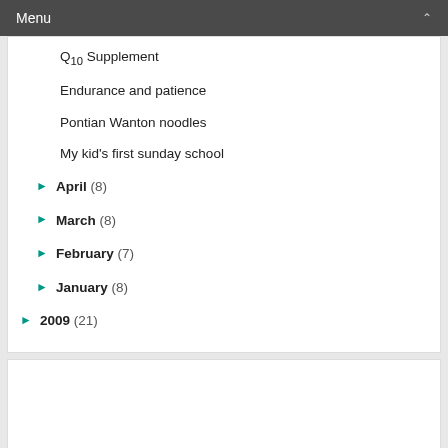Menu
Q10 Supplement
Endurance and patience
Pontian Wanton noodles
My kid's first sunday school
April (8)
March (8)
February (7)
January (8)
2009 (21)